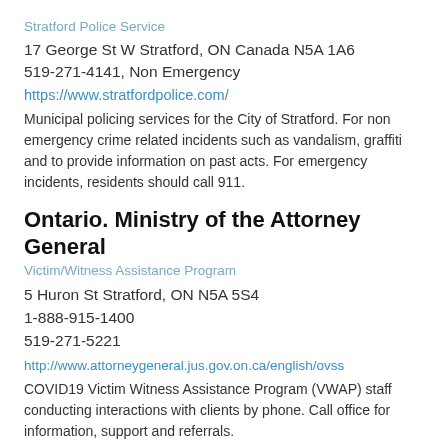Stratford Police Service
17 George St W Stratford, ON Canada N5A 1A6
519-271-4141, Non Emergency
https://www.stratfordpolice.com/
Municipal policing services for the City of Stratford. For non emergency crime related incidents such as vandalism, graffiti and to provide information on past acts. For emergency incidents, residents should call 911.
Ontario. Ministry of the Attorney General
Victim/Witness Assistance Program
5 Huron St Stratford, ON N5A 5S4
1-888-915-1400
519-271-5221
http://www.attorneygeneral.jus.gov.on.ca/english/ovss
COVID19 Victim Witness Assistance Program (VWAP) staff conducting interactions with clients by phone. Call office for information, support and referrals.
Information and assistance to support participation in the criminal court process. Services begin once police have laid